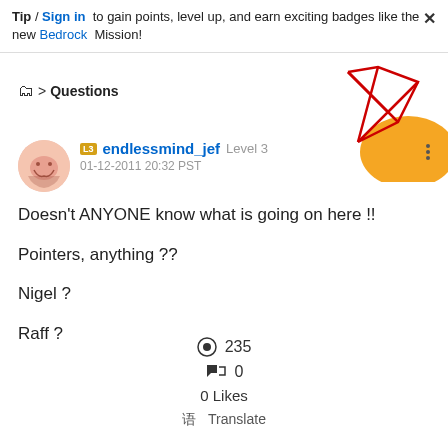Tip / Sign in to gain points, level up, and earn exciting badges like the new Bedrock Mission!
Questions
[Figure (illustration): Abstract geometric decoration with red angular lines and orange shapes in top right corner]
endlessmind_jef Level 3
01-12-2011 20:32 PST
Doesn't ANYONE know what is going on here !!

Pointers, anything ??

Nigel ?

Raff ?
235
0
0 Likes
Translate